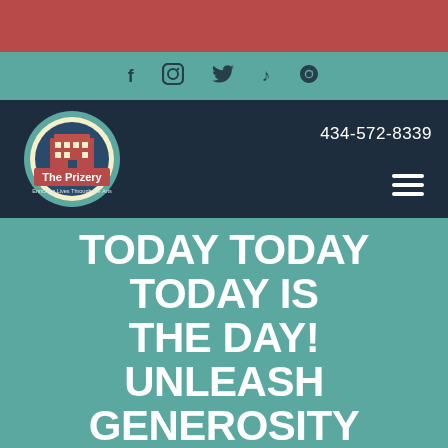[Figure (screenshot): Red top banner bar]
Social media icons: Facebook, Instagram, Twitter, TikTok, Snapchat
[Figure (logo): The Prizery logo - circular logo with red building, cream/yellow ring, text 'The Prizery' and 'Enriching Lives Through the Arts']
434-572-8339
TODAY TODAY TODAY IS THE DAY! UNLEASH GENEROSITY AND SHARE WITH ALL
Moving Forward ...